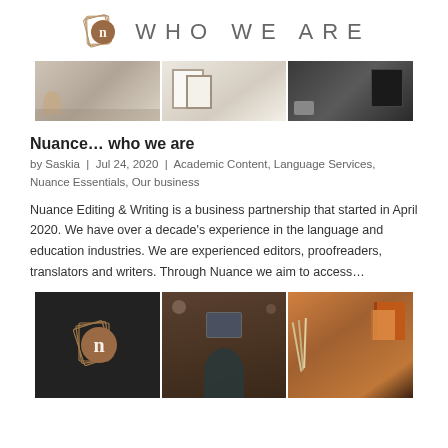WHO WE ARE
[Figure (photo): Three-panel banner: interior scene, blank frames on desk, black notebook with phone]
Nuance… who we are
by Saskia | Jul 24, 2020 | Academic Content, Language Services, Nuance Essentials, Our business
Nuance Editing & Writing is a business partnership that started in April 2020. We have over a decade's experience in the language and education industries. We are experienced editors, proofreaders, translators and writers. Through Nuance we aim to access…
[Figure (photo): Three-panel image: Nuance logo on dark background, overhead view of person working at desk with laptop, orange/warm-toned desk items]